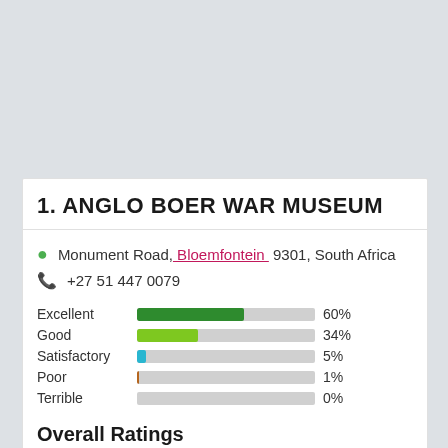1. ANGLO BOER WAR MUSEUM
Monument Road, Bloemfontein 9301, South Africa
+27 51 447 0079
[Figure (bar-chart): Rating breakdown]
Overall Ratings